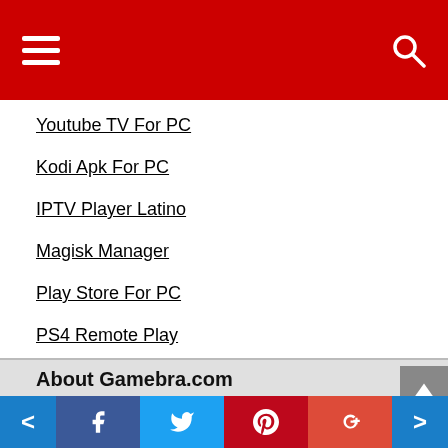Navigation bar with hamburger menu and search icon
Youtube TV For PC
Kodi Apk For PC
IPTV Player Latino
Magisk Manager
Play Store For PC
PS4 Remote Play
About Gamebra.com
Welcome to Gamebra.com,the source of highly compressed pc games and apps apk free download for PC.This is one of the best sites on the Web to play games and apps for free 19!Our games are Full Version PC Games. You can download apps and games for Windows 10
[Figure (other): Social sharing bar with previous/next navigation and Facebook, Twitter, Pinterest, Google+ share buttons]